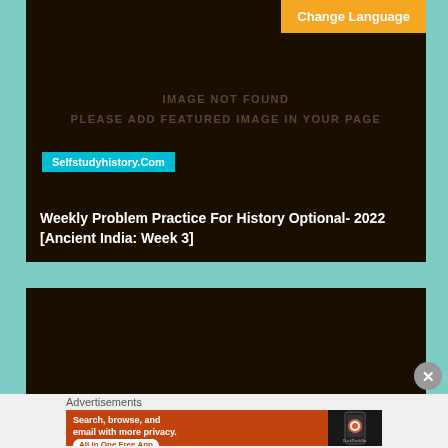[Figure (screenshot): Dark brown card with 'IMAGE NOT FOUND / PLEASE ADD FEATURED IMAGE IN YOUR PAGE' text and 'Selfstudyhistory.Com' badge. Orange 'Change Language' button top right.]
Weekly Problem Practice For History Optional- 2022 [Ancient India: Week 3]
[Figure (screenshot): Second dark brown card, partially shown.]
Advertisements
[Figure (screenshot): DuckDuckGo advertisement banner: 'Search, browse, and email with more privacy. All in One Free App' with DuckDuckGo logo and phone image on orange background.]